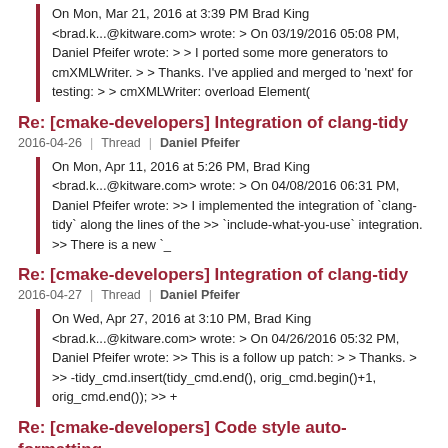On Mon, Mar 21, 2016 at 3:39 PM Brad King <brad.k...@kitware.com> wrote: > On 03/19/2016 05:08 PM, Daniel Pfeifer wrote: > > I ported some more generators to cmXMLWriter. > > Thanks. I've applied and merged to 'next' for testing: > > cmXMLWriter: overload Element(
Re: [cmake-developers] Integration of clang-tidy
2016-04-26 | Thread | Daniel Pfeifer
On Mon, Apr 11, 2016 at 5:26 PM, Brad King <brad.k...@kitware.com> wrote: > On 04/08/2016 06:31 PM, Daniel Pfeifer wrote: >> I implemented the integration of `clang-tidy` along the lines of the >> `include-what-you-use` integration. >> There is a new `_
Re: [cmake-developers] Integration of clang-tidy
2016-04-27 | Thread | Daniel Pfeifer
On Wed, Apr 27, 2016 at 3:10 PM, Brad King <brad.k...@kitware.com> wrote: > On 04/26/2016 05:32 PM, Daniel Pfeifer wrote: >> This is a follow up patch: > > Thanks. > >> -tidy_cmd.insert(tidy_cmd.end(), orig_cmd.begin()+1, orig_cmd.end()); >> +
Re: [cmake-developers] Code style auto-formatting